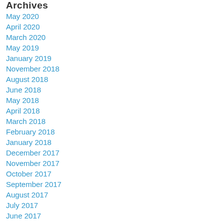Archives
May 2020
April 2020
March 2020
May 2019
January 2019
November 2018
August 2018
June 2018
May 2018
April 2018
March 2018
February 2018
January 2018
December 2017
November 2017
October 2017
September 2017
August 2017
July 2017
June 2017